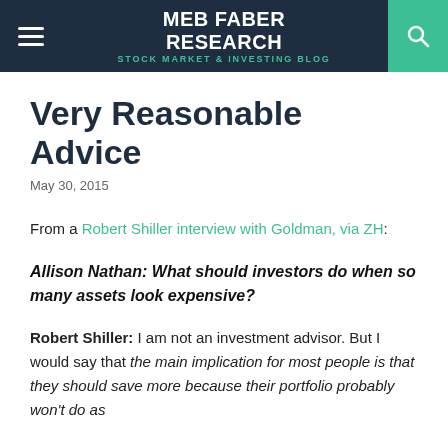MEB FABER RESEARCH — STOCK MARKET & INVESTING BLOG
Very Reasonable Advice
May 30, 2015
From a Robert Shiller interview with Goldman, via ZH:
Allison Nathan: What should investors do when so many assets look expensive?
Robert Shiller: I am not an investment advisor. But I would say that the main implication for most people is that they should save more because their portfolio probably won't do as